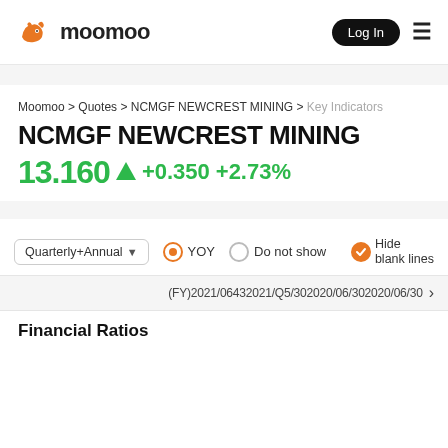moomoo  Log In
Moomoo > Quotes > NCMGF NEWCREST MINING > Key Indicators
NCMGF NEWCREST MINING
13.160 ▲ +0.350 +2.73%
Quarterly+Annual  YOY  Do not show  Hide blank lines
(FY)2021/06/30  2021/Q5/30  2020/06/30  2020/06/30
Financial Ratios